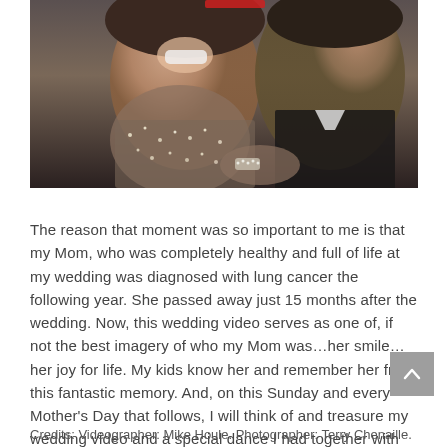[Figure (photo): Close-up photo of a smiling woman wearing jewelry and a sparkly/sequined outfit, with a man in a dark suit visible behind her. Appears to be taken at a wedding or formal event.]
The reason that moment was so important to me is that my Mom, who was completely healthy and full of life at my wedding was diagnosed with lung cancer the following year. She passed away just 15 months after the wedding. Now, this wedding video serves as one of, if not the best imagery of who my Mom was…her smile…her joy for life. My kids know her and remember her from this fantastic memory. And, on this Sunday and every Mother's Day that follows, I will think of and treasure my wedding video and a special dance I had together with my Mom.
Credits: Videographer: Mike Houle. Photographer: Terry Chenaille.